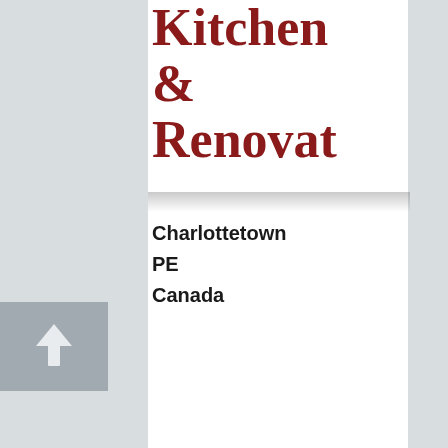Kitchen & Renovat
Charlottetown
PE
Canada
[Figure (other): Scroll to top button with upward arrow icon on grey background]